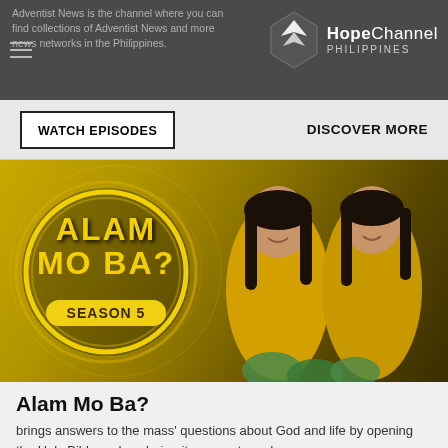Adventist News is the channel where you can find collections of Adventist News and more news networks in the Philippines.
[Figure (logo): Hope Channel Philippines logo with wing/dove icon]
WATCH EPISODES
DISCOVER MORE
[Figure (photo): Alam Mo Ba? Season 5 promotional image showing two female hosts in yellow outfits with golden circle logo on yellow/olive background]
Alam Mo Ba?
brings answers to the mass' questions about God and life by opening the Holy Bible and exploring its precepts and